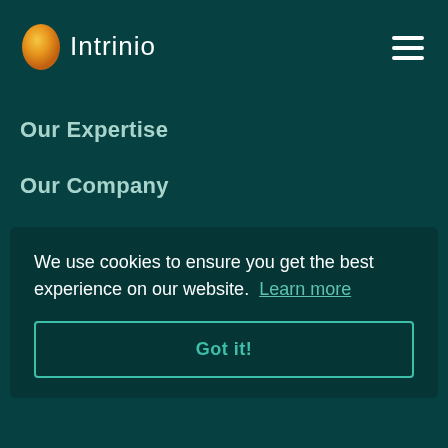[Figure (logo): Intrinio logo with orange egg icon and white text 'Intrinio']
Our Expertise
Our Company
Careers
Blog
We use cookies to ensure you get the best experience on our website. Learn more
Got it!